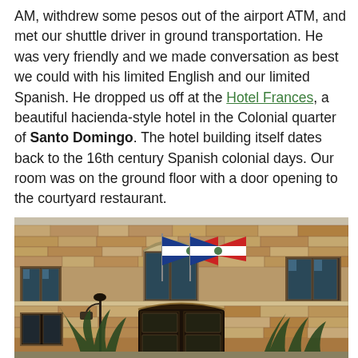AM, withdrew some pesos out of the airport ATM, and met our shuttle driver in ground transportation. He was very friendly and we made conversation as best we could with his limited English and our limited Spanish. He dropped us off at the Hotel Frances, a beautiful hacienda-style hotel in the Colonial quarter of Santo Domingo. The hotel building itself dates back to the 16th century Spanish colonial days. Our room was on the ground floor with a door opening to the courtyard restaurant.
[Figure (photo): Exterior facade of Hotel Frances, a historic stone building in Santo Domingo's Colonial quarter, showing two Dominican Republic flags hanging from the front, arched entrance, windows with dark frames, palm trees, and a street lamp.]